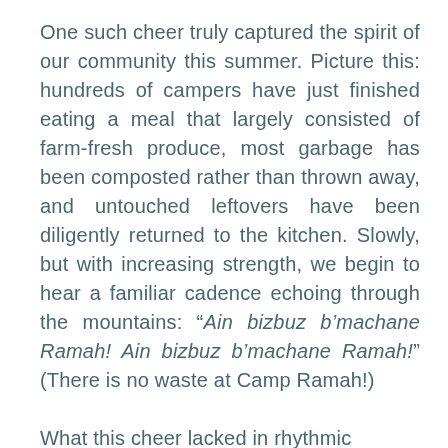One such cheer truly captured the spirit of our community this summer. Picture this: hundreds of campers have just finished eating a meal that largely consisted of farm-fresh produce, most garbage has been composted rather than thrown away, and untouched leftovers have been diligently returned to the kitchen. Slowly, but with increasing strength, we begin to hear a familiar cadence echoing through the mountains: “Ain bizbuz b’machane Ramah! Ain bizbuz b’machane Ramah!” (There is no waste at Camp Ramah!)
What this cheer lacked in rhythmic catching, it made up for in soul and...